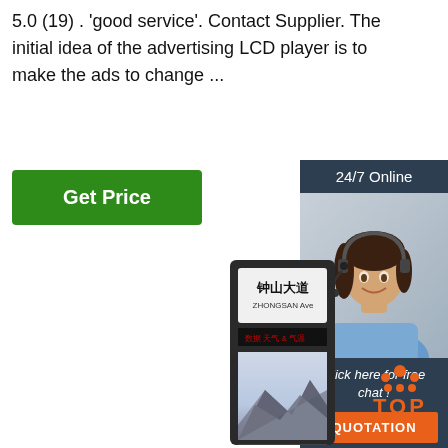5.0 (19) . 'good service'. Contact Supplier. The initial idea of the advertising LCD player is to make the ads to change ...
[Figure (screenshot): Green 'Get Price' button]
[Figure (screenshot): Sidebar with 24/7 Online customer service agent photo, 'Click here for free chat!' text, and orange QUOTATION button]
[Figure (photo): Outdoor advertising kiosk displaying Chinese text '钟山大道 ZHONGSAN Ave' and mountain landscape on LCD screen]
[Figure (logo): Orange TOP badge with dots arranged as upward arrow above the word TOP]